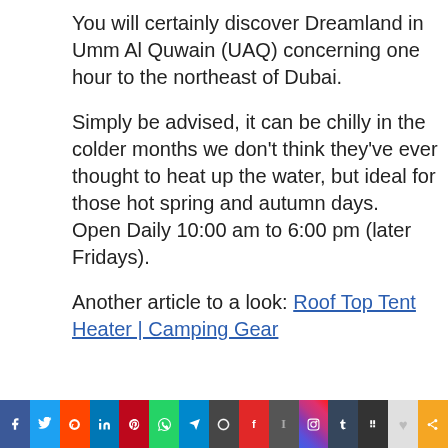You will certainly discover Dreamland in Umm Al Quwain (UAQ) concerning one hour to the northeast of Dubai.
Simply be advised, it can be chilly in the colder months we don't think they've ever thought to heat up the water, but ideal for those hot spring and autumn days.
Open Daily 10:00 am to 6:00 pm (later Fridays).
Another article to a look: Roof Top Tent Heater | Camping Gear